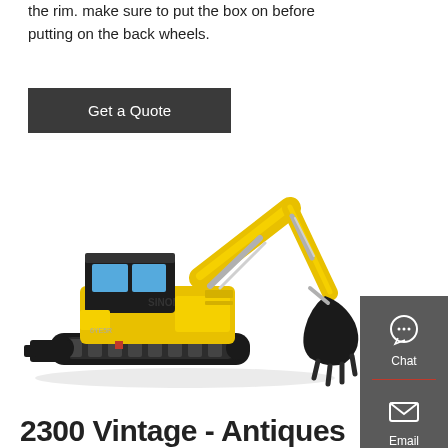the rim. make sure to put the box on before putting on the back wheels.
Get a Quote
[Figure (photo): Yellow SINOMACH mini excavator with black cab and bucket attachment on crawler tracks, shown on white background. Sidebar with Chat, Email, Contact icons on dark grey background on the right.]
2300 Vintage - Antiques